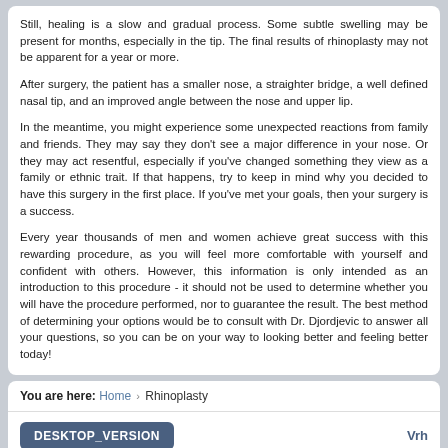Still, healing is a slow and gradual process. Some subtle swelling may be present for months, especially in the tip. The final results of rhinoplasty may not be apparent for a year or more.
After surgery, the patient has a smaller nose, a straighter bridge, a well defined nasal tip, and an improved angle between the nose and upper lip.
In the meantime, you might experience some unexpected reactions from family and friends. They may say they don't see a major difference in your nose. Or they may act resentful, especially if you've changed something they view as a family or ethnic trait. If that happens, try to keep in mind why you decided to have this surgery in the first place. If you've met your goals, then your surgery is a success.
Every year thousands of men and women achieve great success with this rewarding procedure, as you will feel more comfortable with yourself and confident with others. However, this information is only intended as an introduction to this procedure - it should not be used to determine whether you will have the procedure performed, nor to guarantee the result. The best method of determining your options would be to consult with Dr. Djordjevic to answer all your questions, so you can be on your way to looking better and feeling better today!
You are here: Home › Rhinoplasty
DESKTOP_VERSION
Vrh
American Aesthetic Surgery Center © 2015    powered by: ArtSpot